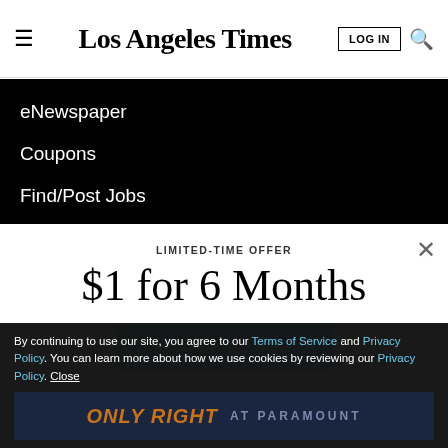Los Angeles Times — LOG IN
eNewspaper
Coupons
Find/Post Jobs
Place an Ad
Media Kit: Why the L.A. Times?
LIMITED-TIME OFFER
$1 for 6 Months
SUBSCRIBE NOW
By continuing to use our site, you agree to our Terms of Service and Privacy Policy. You can learn more about how we use cookies by reviewing our Privacy Policy. Close